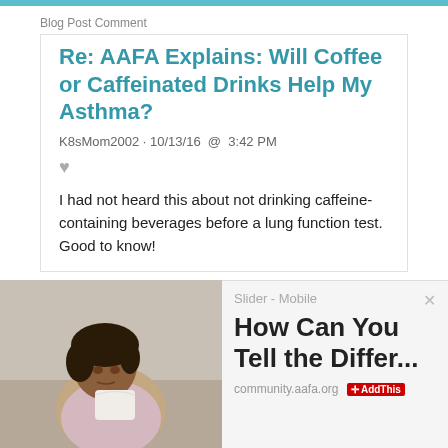Blog Post Comment
Re: AAFA Explains: Will Coffee or Caffeinated Drinks Help My Asthma?
K8sMom2002 · 10/13/16 @ 3:42 PM
I had not heard this about not drinking caffeine-containing beverages before a lung function test. Good to know!
[Figure (photo): A woman sitting on a couch holding a tissue, looking unwell]
Slider - Mobile
How Can You Tell the Differ...
community.aafa.org   AddThis